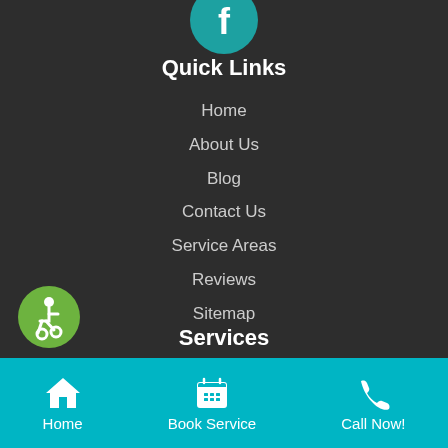[Figure (logo): Facebook icon — white 'f' on teal circle]
Quick Links
Home
About Us
Blog
Contact Us
Service Areas
Reviews
Sitemap
Services
Bathroom Plumbing
Burst Pipe Repair
[Figure (illustration): Accessibility icon — wheelchair user on green circle]
Home | Book Service | Call Now!